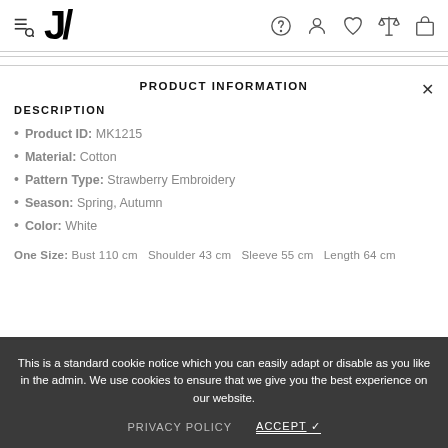[Figure (screenshot): Website header with hamburger/search icon, logo (stylized J/A), and navigation icons: help, user, wishlist, compare, cart]
PRODUCT INFORMATION
DESCRIPTION
Product ID: MK1215
Material: Cotton
Pattern Type: Strawberry Embroidery
Season: Spring, Autumn
Color: White
One Size: Bust 110 cm  Shoulder 43 cm  Sleeve 55 cm  Length 64 cm
This is a standard cookie notice which you can easily adapt or disable as you like in the admin. We use cookies to ensure that we give you the best experience on our website.
PRIVACY POLICY   ACCEPT ✓